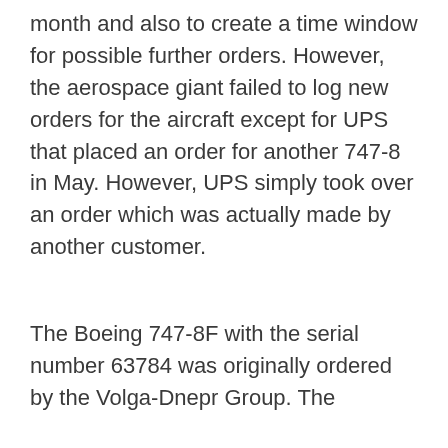month and also to create a time window for possible further orders. However, the aerospace giant failed to log new orders for the aircraft except for UPS that placed an order for another 747-8 in May. However, UPS simply took over an order which was actually made by another customer.
The Boeing 747-8F with the serial number 63784 was originally ordered by the Volga-Dnepr Group. The